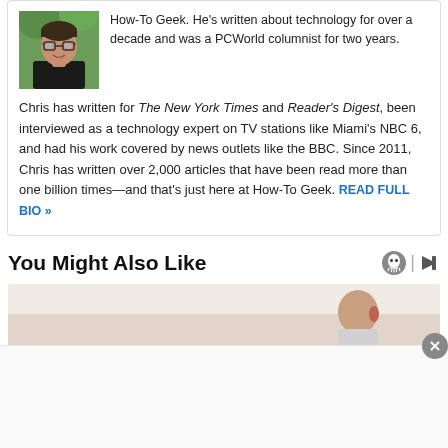[Figure (photo): Headshot of a man with glasses wearing a black shirt, outdoors with green background]
How-To Geek. He's written about technology for over a decade and was a PCWorld columnist for two years. Chris has written for The New York Times and Reader's Digest, been interviewed as a technology expert on TV stations like Miami's NBC 6, and had his work covered by news outlets like the BBC. Since 2011, Chris has written over 2,000 articles that have been read more than one billion times—and that's just here at How-To Geek. READ FULL BIO »
You Might Also Like
[Figure (photo): Partial thumbnail image showing a person, used as a content recommendation thumbnail]